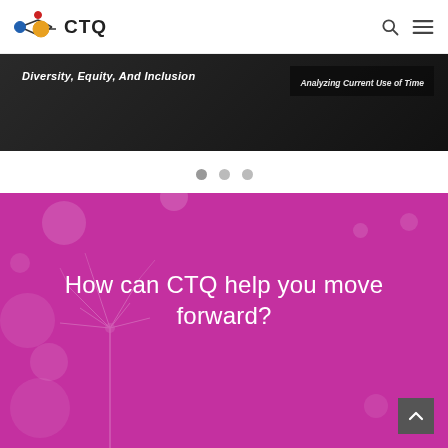[Figure (logo): CTQ logo with connected node graphic and text CTQ]
[Figure (screenshot): Navigation bar with search and hamburger menu icons]
[Figure (photo): Dark banner strip showing text 'Diversity, Equity, And Inclusion' on the left and 'Analyzing Current Use of Time' on the right]
[Figure (other): Carousel pagination dots, three circles]
[Figure (photo): Purple/magenta section with decorative bokeh circles and dandelion silhouettes]
How can CTQ help you move forward?